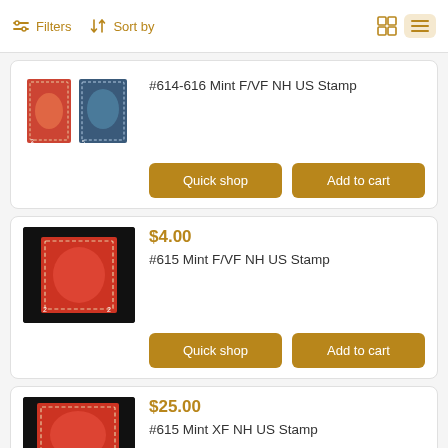Filters  Sort by
[Figure (photo): Product image: two US postage stamps (#614-616) on white background]
#614-616 Mint F/VF NH US Stamp
Quick shop
Add to cart
$4.00
[Figure (photo): Product image: single red US postage stamp #615 on black background]
#615 Mint F/VF NH US Stamp
Quick shop
Add to cart
$25.00
[Figure (photo): Product image: single red US postage stamp #615 on black background (XF grade)]
#615 Mint XF NH US Stamp